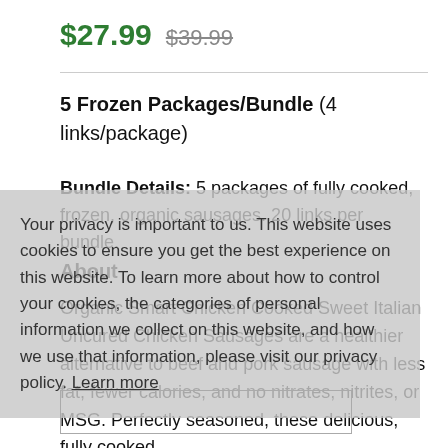$27.99  $39.99
5 Frozen Packages/Bundle (4 links/package)
Bundle Details: 5 packages of fully cooked, frozen, organic sausages. 20 links per bundle.
About
Organic Smart Chicken Cooked Sweet Italian Uncured Chicken Sausages are a healthier alternative to beef and pork sausage with less fat, fewer calories, and no nitrates, nitrites, or MSG. Perfectly seasoned, these delicious, fully cooked
Your privacy is important to us. This website uses cookies to ensure you get the best experience on this website. To learn more about how to control your cookies, the categories of personal information we collect on this website, and how we use that information, please visit our privacy policy. Learn more